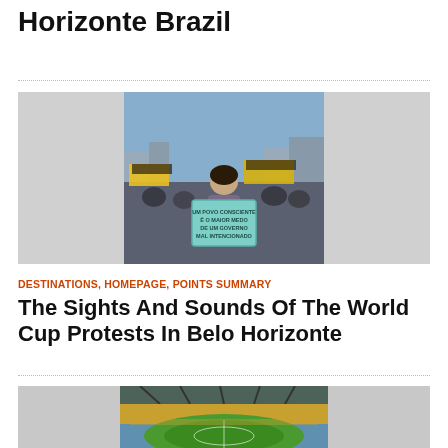Horizonte Brazil
[Figure (photo): Protest photo showing a woman holding a sign at a World Cup protest in Belo Horizonte, Brazil. The sign reads 'Um povo consciente é o maior medo de um governo mal intencionado'. Crowds with yellow and black flags in background.]
DESTINATIONS, HOMEPAGE, POINTS SUMMARY
The Sights And Sounds Of The World Cup Protests In Belo Horizonte
[Figure (photo): Interior view of a large football stadium in Brazil, showing the green and yellow pitch and stadium seating from an elevated angle.]